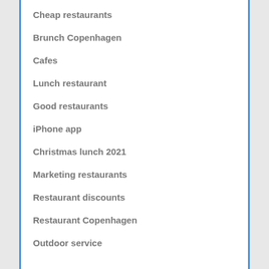Cheap restaurants
Brunch Copenhagen
Cafes
Lunch restaurant
Good restaurants
iPhone app
Christmas lunch 2021
Marketing restaurants
Restaurant discounts
Restaurant Copenhagen
Outdoor service